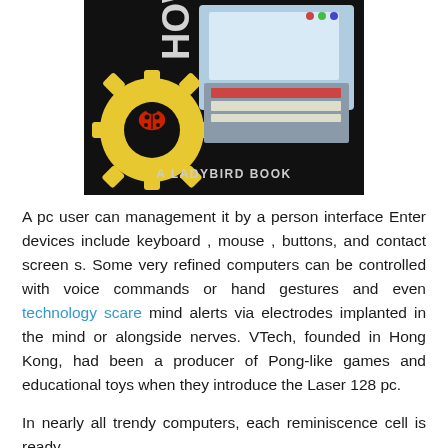[Figure (photo): Cover of a Ladybird Book showing an early home computer keyboard/monitor, a large yellow gear cog with a red ladybird (ladybug) on it, against a dark background. Text reads 'A LADYBIRD BOOK'.]
A pc user can management it by a person interface Enter devices include keyboard , mouse , buttons, and contact screen s. Some very refined computers can be controlled with voice commands or hand gestures and even technology scare mind alerts via electrodes implanted in the mind or alongside nerves. VTech, founded in Hong Kong, had been a producer of Pong-like games and educational toys when they introduce the Laser 128 pc.
In nearly all trendy computers, each reminiscence cell is ready to...